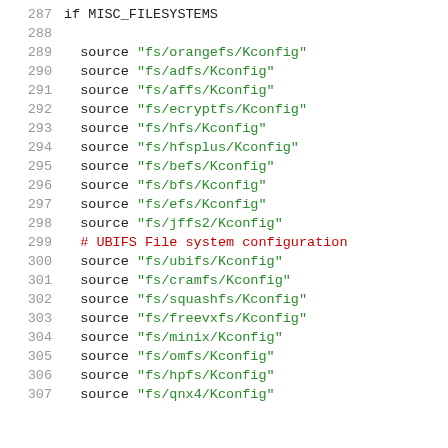287  if MISC_FILESYSTEMS
288
289    source "fs/orangefs/Kconfig"
290    source "fs/adfs/Kconfig"
291    source "fs/affs/Kconfig"
292    source "fs/ecryptfs/Kconfig"
293    source "fs/hfs/Kconfig"
294    source "fs/hfsplus/Kconfig"
295    source "fs/befs/Kconfig"
296    source "fs/bfs/Kconfig"
297    source "fs/efs/Kconfig"
298    source "fs/jffs2/Kconfig"
299  # UBIFS File system configuration
300    source "fs/ubifs/Kconfig"
301    source "fs/cramfs/Kconfig"
302    source "fs/squashfs/Kconfig"
303    source "fs/freevxfs/Kconfig"
304    source "fs/minix/Kconfig"
305    source "fs/omfs/Kconfig"
306    source "fs/hpfs/Kconfig"
307    source "fs/qnx4/Kconfig"